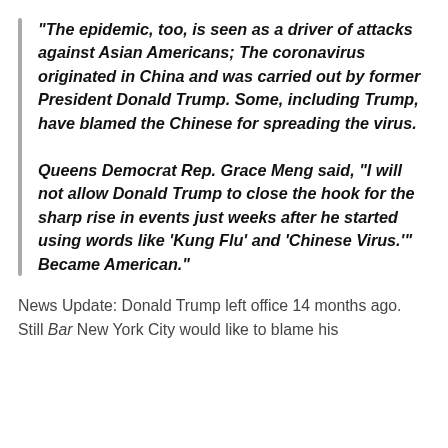“The epidemic, too, is seen as a driver of attacks against Asian Americans; The coronavirus originated in China and was carried out by former President Donald Trump. Some, including Trump, have blamed the Chinese for spreading the virus.

Queens Democrat Rep. Grace Meng said, “I will not allow Donald Trump to close the hook for the sharp rise in events just weeks after he started using words like ‘Kung Flu’ and ‘Chinese Virus.’” Became American.”
News Update: Donald Trump left office 14 months ago. Still Bar New York City would like to blame his